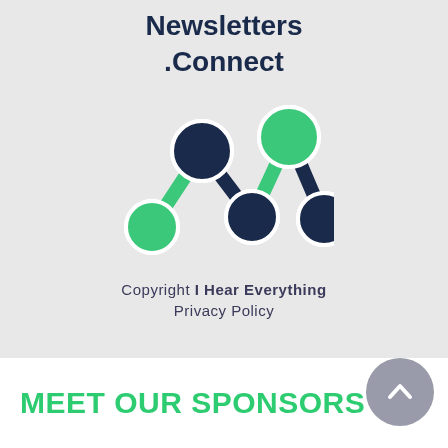Newsletters
.Connect
[Figure (logo): M-shaped logo made of connected circles and lines in dark navy and green colors]
Copyright I Hear Everything
Privacy Policy
MEET OUR SPONSORS